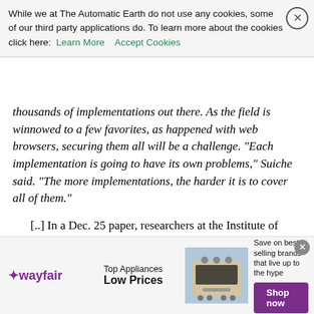While we at The Automatic Earth do not use any cookies, some of our third party applications do. To learn more about the cookies click here: Learn More  Accept Cookies
thousands of implementations out there. As the field is winnowed to a few favorites, as happened with web browsers, securing them all will be a challenge. "Each implementation is going to have its own problems," Suiche said. "The more implementations, the harder it is to cover all of them."
[..] In a Dec. 25 paper, researchers at the Institute of Electrical and Electronics Engineers outlined ways hackers can spend the same Bitcoins twice, the very thing blockchains are meant to prevent. In a Balance Attack, for instance, hackers delay network communications between subgroups of miners, whose computers verify blockchain transactions, to allow for double spending. "We have no evidence that such attacks have already been performed on Bitcoin," the IEEE researchers said. "However, we believe that some of the important characteristics of Bitcoin make these attacks practical and potentially highly disruptive."
[Figure (other): Wayfair advertisement banner: Top Appliances Low Prices, image of a stove/range, Save on best selling brands that live up to the hype, Shop now button]